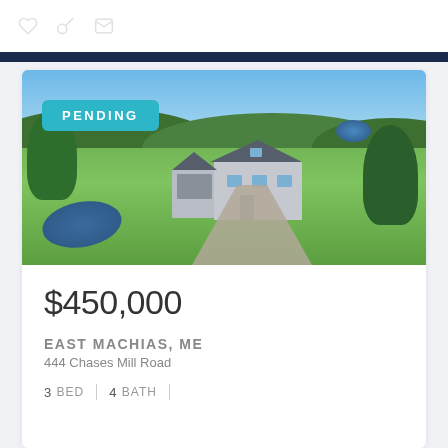Icons: favorite, key, message
[Figure (photo): Aerial photo of a house with a curved driveway, pond, and surrounding green fields and trees. PENDING badge overlay on the upper left.]
$450,000
EAST MACHIAS, ME
444 Chases Mill Road
3 BED | 4 BATH |